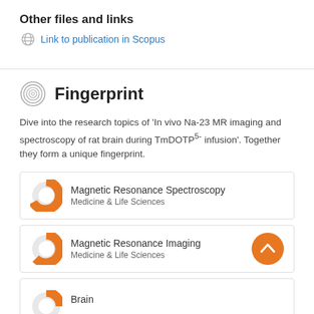Other files and links
Link to publication in Scopus
Fingerprint
Dive into the research topics of 'In vivo Na-23 MR imaging and spectroscopy of rat brain during TmDOTP5- infusion'. Together they form a unique fingerprint.
Magnetic Resonance Spectroscopy
Medicine & Life Sciences
Magnetic Resonance Imaging
Medicine & Life Sciences
Brain